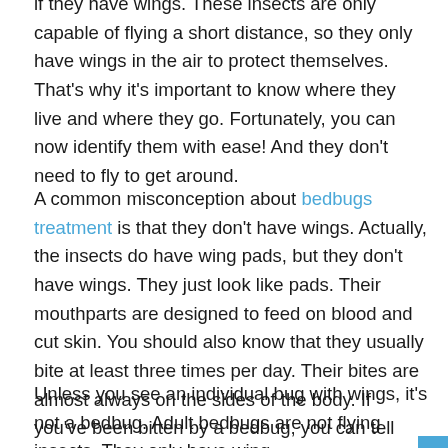if they have wings. These insects are only capable of flying a short distance, so they only have wings in the air to protect themselves. That's why it's important to know where they live and where they go. Fortunately, you can now identify them with ease! And they don't need to fly to get around.
A common misconception about bedbugs treatment is that they don't have wings. Actually, the insects do have wing pads, but they don't have wings. They just look like pads. Their mouthparts are designed to feed on blood and cut skin. You should also know that they usually bite at least three times per day. Their bites are almost always on the sides of the body. If you've been bitten by a bedbug, you can tell that it's a male because the larva has a flattened body.
Unless you see an individual bug with wings, it's not a bedbug. Adult bedbugs are not flying insects. They only have wing